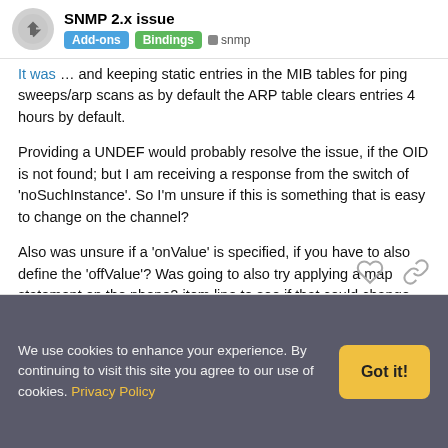SNMP 2.x issue | Add-ons | Bindings | snmp
It was ... and keeping static entries in the MIB tables for ping sweeps/arp scans as by default the ARP table clears entries 4 hours by default.
Providing a UNDEF would probably resolve the issue, if the OID is not found; but I am receiving a response from the switch of 'noSuchInstance'. So I'm unsure if this is something that is easy to change on the channel?
Also was unsure if a 'onValue' is specified, if you have to also define the 'offValue'? Was going to also try applying a map statement on the phone2 item line to see if that could change the outcome of the switch state.
We use cookies to enhance your experience. By continuing to visit this site you agree to our use of cookies. Privacy Policy